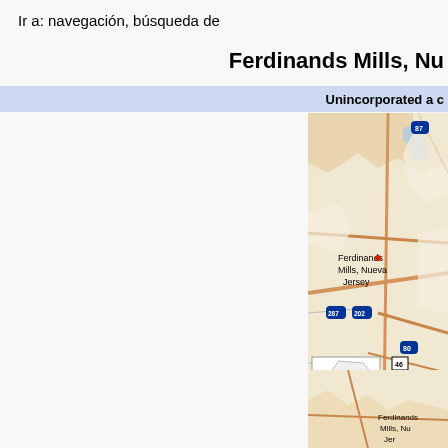Ir a: navegación, búsqueda de
Ferdinands Mills, Nu
Unincorporated a c
[Figure (map): Map showing location of Ferdinands Mills in Bergen County, New Jersey with interstate highway markers (87, 287, 202, 80, 46, 95) and an inset showing New Jersey state outline with location highlighted in red.]
Ubicación de Ferdinands molinos en Bergen County: Ubicac
[Figure (map): Second map showing Ferdinands Mills, Nueva Jersey location detail at larger scale.]